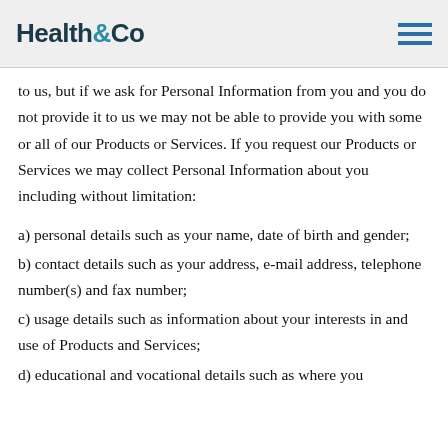Health&Co
to us, but if we ask for Personal Information from you and you do not provide it to us we may not be able to provide you with some or all of our Products or Services. If you request our Products or Services we may collect Personal Information about you including without limitation:
a) personal details such as your name, date of birth and gender;
b) contact details such as your address, e-mail address, telephone number(s) and fax number;
c) usage details such as information about your interests in and use of Products and Services;
d) educational and vocational details such as where you